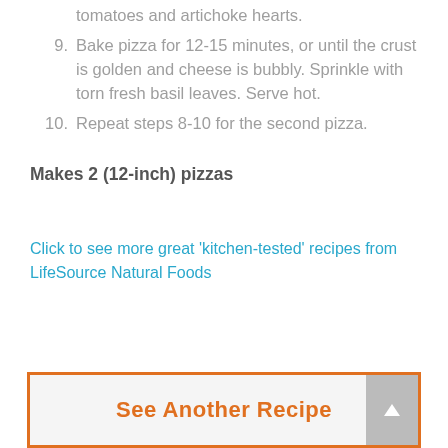tomatoes and artichoke hearts.
9. Bake pizza for 12-15 minutes, or until the crust is golden and cheese is bubbly. Sprinkle with torn fresh basil leaves. Serve hot.
10. Repeat steps 8-10 for the second pizza.
Makes 2 (12-inch) pizzas
Click to see more great 'kitchen-tested' recipes from LifeSource Natural Foods
See Another Recipe